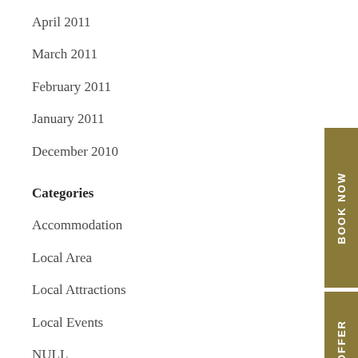April 2011
March 2011
February 2011
January 2011
December 2010
Categories
Accommodation
Local Area
Local Attractions
Local Events
NULL
Uncategorized